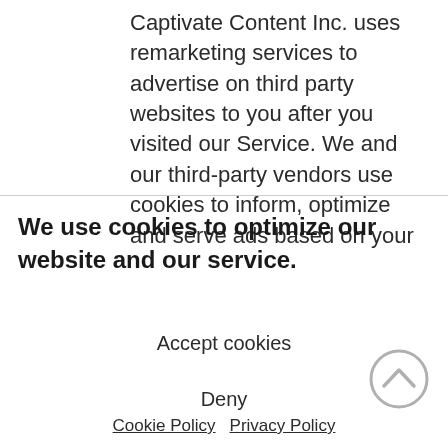Captivate Content Inc. uses remarketing services to advertise on third party websites to you after you visited our Service. We and our third-party vendors use cookies to inform, optimize and serve ads based on your
We use cookies to optimize our website and our service.
Accept cookies
Deny
Cookie Policy  Privacy Policy